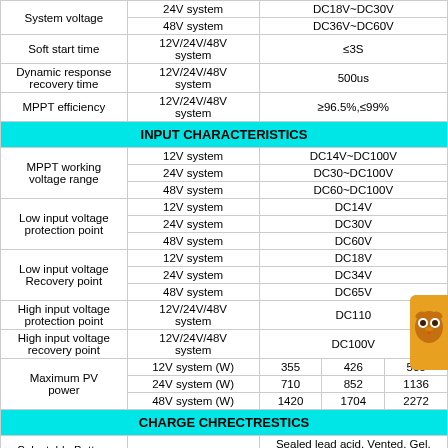| Parameter | System | Value |
| --- | --- | --- |
| System voltage | 24V system | DC18V~DC30V |
| System voltage | 48V system | DC36V~DC60V |
| Soft start time | 12V/24V/48V system | ≤3S |
| Dynamic response recovery time | 12V/24V/48V system | 500us |
| MPPT efficiency | 12V/24V/48V system | ≥96.5%,≤99% |
| INPUT CHARACTERISTICS |  |  |
| MPPT working voltage range | 12V system | DC14V~DC100V |
| MPPT working voltage range | 24V system | DC30~DC100V |
| MPPT working voltage range | 48V system | DC60~DC100V |
| Low input voltage protection point | 12V system | DC14V |
| Low input voltage protection point | 24V system | DC30V |
| Low input voltage protection point | 48V system | DC60V |
| Low input voltage Recovery point | 12V system | DC18V |
| Low input voltage Recovery point | 24V system | DC34V |
| Low input voltage Recovery point | 48V system | DC65V |
| High input voltage protection point | 12V/24V/48V system | DC110 |
| High input voltage recovery point | 12V/24V/48V system | DC100V |
| Maximum PV power | 12V system (W) | 355 / 426 / 568 |
| Maximum PV power | 24V system (W) | 710 / 852 / 1136 |
| Maximum PV power | 48V system (W) | 1420 / 1704 / 2272 |
| CHARGE CHRECTRESTICS |  |  |
| Selectable Battery Types | 12V/24V/48V | Sealed lead acid, Vented, Gel, NiCd battery |